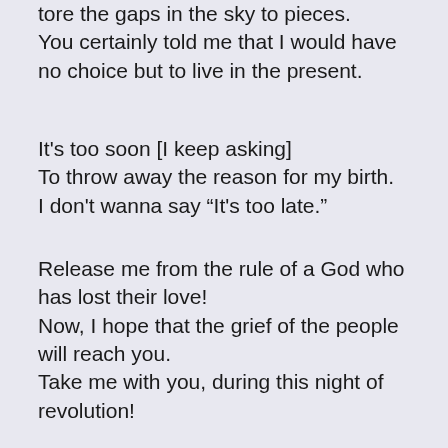tore the gaps in the sky to pieces. You certainly told me that I would have no choice but to live in the present.
It's too soon [I keep asking]
To throw away the reason for my birth.
I don't wanna say “It's too late.”
Release me from the rule of a God who has lost their love!
Now, I hope that the grief of the people will reach you.
Take me with you, during this night of revolution!